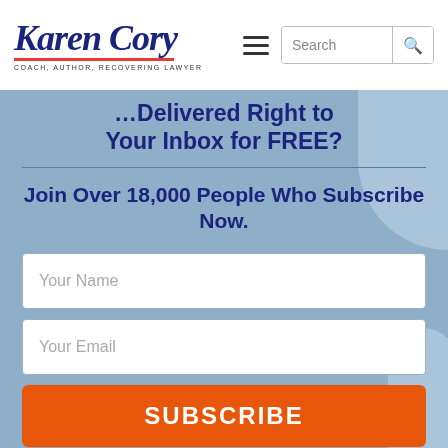[Figure (logo): Karen Cory script logo with tagline COACH, AUTHOR, RECOVERING LAWYER]
Your Inbox for FREE?
Join Over 18,000 People Who Subscribe Now.
Your Name
Your Email
SUBSCRIBE